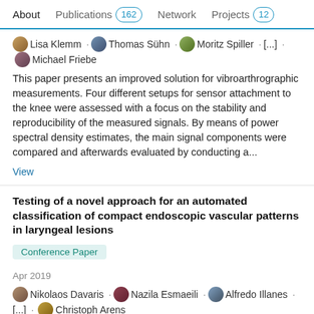About  Publications 162  Network  Projects 12
Lisa Klemm · Thomas Sühn · Moritz Spiller · [...] · Michael Friebe
This paper presents an improved solution for vibroarthrographic measurements. Four different setups for sensor attachment to the knee were assessed with a focus on the stability and reproducibility of the measured signals. By means of power spectral density estimates, the main signal components were compared and afterwards evaluated by conducting a...
View
Testing of a novel approach for an automated classification of compact endoscopic vascular patterns in laryngeal lesions
Conference Paper
Apr 2019
Nikolaos Davaris · Nazila Esmaeili · Alfredo Illanes · [...] · Christoph Arens